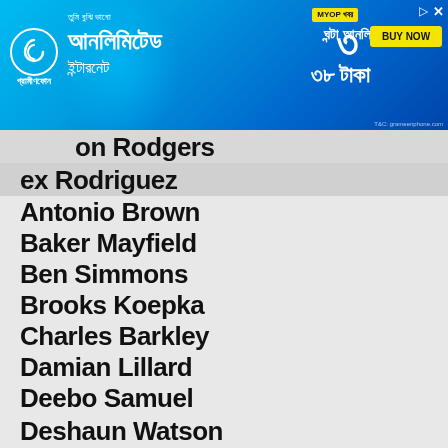[Figure (screenshot): Advertisement banner for Grameenphone (Robi) with Bengali text offering unlimited internet for 38 Taka for 3 hours, with a BUY NOW button and a person in background]
...on Rodgers
...ex Rodriguez
Antonio Brown
Baker Mayfield
Ben Simmons
Brooks Koepka
Charles Barkley
Damian Lillard
Deebo Samuel
Deshaun Watson
Devin Booker
Draymond Green
Holly Sonders
Hot Posts
James Harden
Ja Morant
Jayson Tatum
Jerry Jones